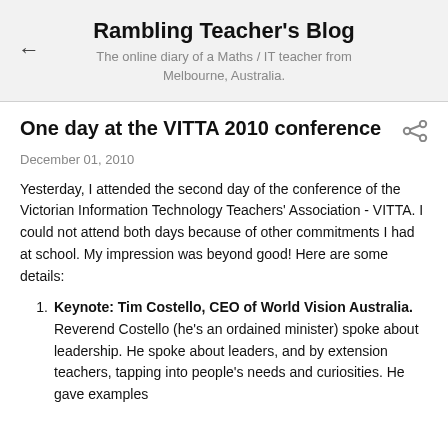Rambling Teacher's Blog
The online diary of a Maths / IT teacher from Melbourne, Australia.
One day at the VITTA 2010 conference
December 01, 2010
Yesterday, I attended the second day of the conference of the Victorian Information Technology Teachers' Association - VITTA. I could not attend both days because of other commitments I had at school. My impression was beyond good! Here are some details:
Keynote: Tim Costello, CEO of World Vision Australia. Reverend Costello (he's an ordained minister) spoke about leadership. He spoke about leaders, and by extension teachers, tapping into people's needs and curiosities. He gave examples